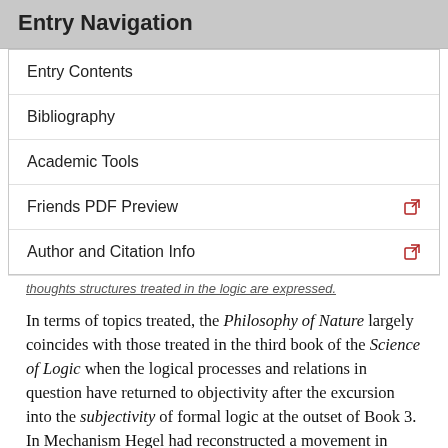Entry Navigation
Entry Contents
Bibliography
Academic Tools
Friends PDF Preview
Author and Citation Info
In terms of topics treated, the Philosophy of Nature largely coincides with those treated in the third book of the Science of Logic when the logical processes and relations in question have returned to objectivity after the excursion into the subjectivity of formal logic at the outset of Book 3. In Mechanism Hegel had reconstructed a movement in thought from a primitive cosmology in which all objects are conceived in relation to a central object (the sun) that exemplifies objecthood per se, to a system of objects within which any such self-sufficient